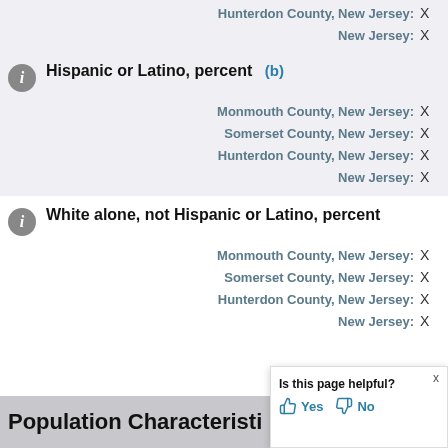Hunterdon County, New Jersey: X
New Jersey: X
Hispanic or Latino, percent (b)
Monmouth County, New Jersey: X
Somerset County, New Jersey: X
Hunterdon County, New Jersey: X
New Jersey: X
White alone, not Hispanic or Latino, percent
Monmouth County, New Jersey: X
Somerset County, New Jersey: X
Hunterdon County, New Jersey: X
New Jersey: X
Population Characteristi
Is this page helpful? Yes No